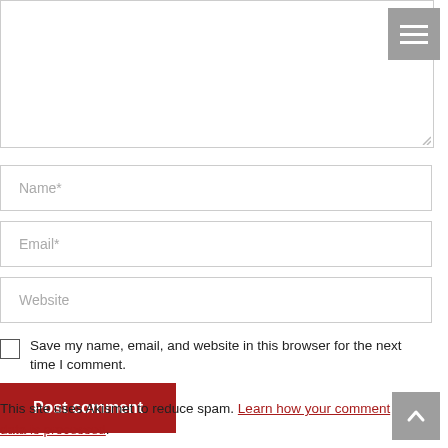[Figure (screenshot): Textarea input box (comment field), partially visible at top of page, with resize handle at bottom-right corner.]
Name*
Email*
Website
Save my name, email, and website in this browser for the next time I comment.
Post comment
This site uses Akismet to reduce spam. Learn how your comment data is processed.